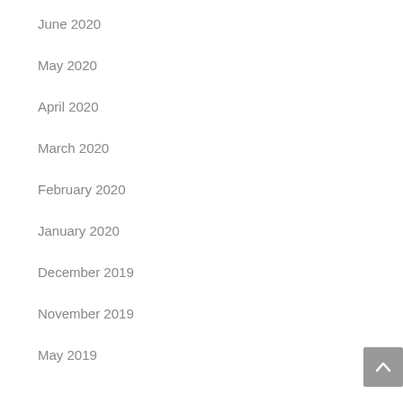June 2020
May 2020
April 2020
March 2020
February 2020
January 2020
December 2019
November 2019
May 2019